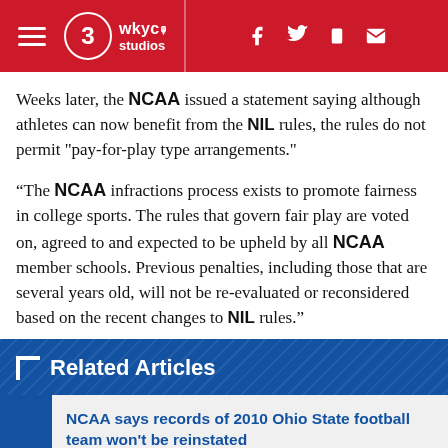WKYC 3 Studios — navigation and social icons header
Weeks later, the NCAA issued a statement saying although athletes can now benefit from the NIL rules, the rules do not permit "pay-for-play type arrangements."
“The NCAA infractions process exists to promote fairness in college sports. The rules that govern fair play are voted on, agreed to and expected to be upheld by all NCAA member schools. Previous penalties, including those that are several years old, will not be re-evaluated or reconsidered based on the recent changes to NIL rules.”
Related Articles
NCAA says records of 2010 Ohio State football team won't be reinstated
Terrelle Pryor, other members of 2010 Ohio State